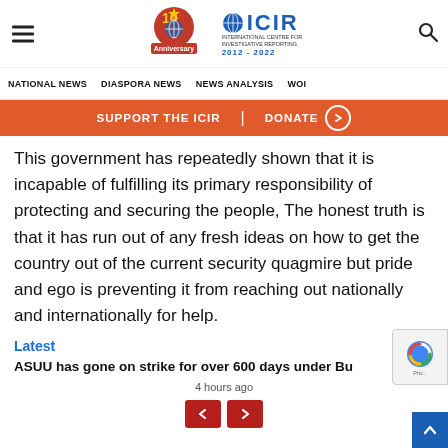ICIR 10th Anniversary — 2012-2022 site header with navigation: NATIONAL NEWS | DIASPORA NEWS | NEWS ANALYSIS | WOI
SUPPORT THE ICIR | DONATE
This government has repeatedly shown that it is incapable of fulfilling its primary responsibility of protecting and securing the people, The honest truth is that it has run out of any fresh ideas on how to get the country out of the current security quagmire but pride and ego is preventing it from reaching out nationally and internationally for help.
Latest
ASUU has gone on strike for over 600 days under Bu
4 hours ago